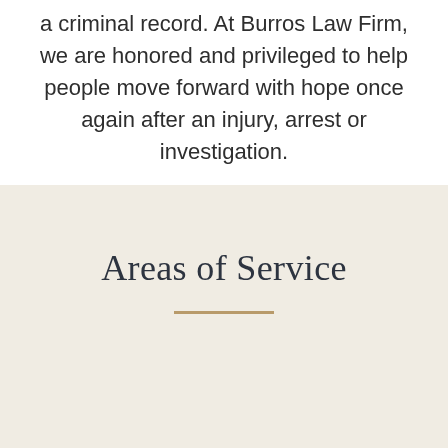a criminal record. At Burros Law Firm, we are honored and privileged to help people move forward with hope once again after an injury, arrest or investigation.
Areas of Service